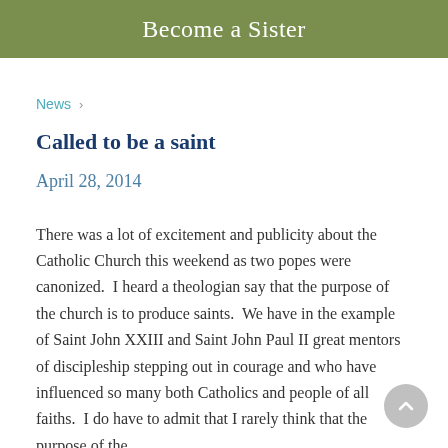Become a Sister
News ›
Called to be a saint
April 28, 2014
There was a lot of excitement and publicity about the Catholic Church this weekend as two popes were canonized.  I heard a theologian say that the purpose of the church is to produce saints.  We have in the example of Saint John XXIII and Saint John Paul II great mentors of discipleship stepping out in courage and who have influenced so many both Catholics and people of all faiths.  I do have to admit that I rarely think that the purpose of the